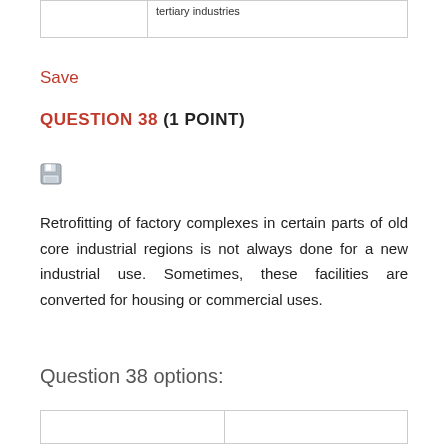|  | tertiary industries |
Save
QUESTION 38 (1 POINT)
[Figure (other): Small floppy disk / save icon]
Retrofitting of factory complexes in certain parts of old core industrial regions is not always done for a new industrial use. Sometimes, these facilities are converted for housing or commercial uses.
Question 38 options:
|  |  |